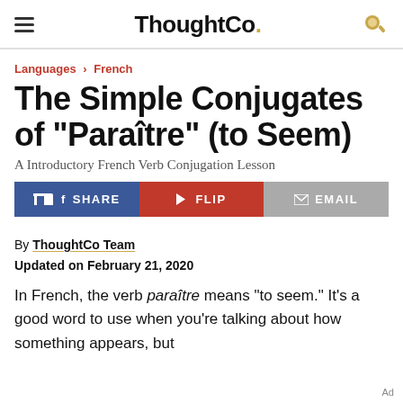ThoughtCo.
Languages › French
The Simple Conjugates of "Paraître" (to Seem)
A Introductory French Verb Conjugation Lesson
[Figure (infographic): Social share buttons: SHARE (Facebook, blue), FLIP (red), EMAIL (grey)]
By ThoughtCo Team
Updated on February 21, 2020
In French, the verb paraître means "to seem." It's a good word to use when you're talking about how something appears, but